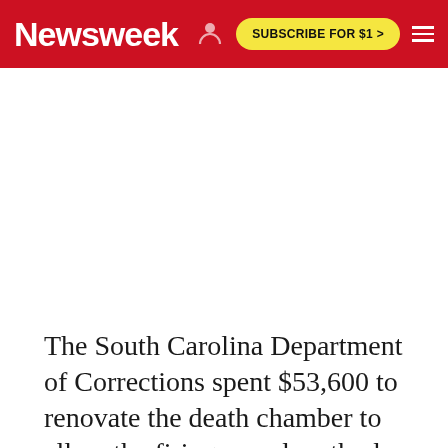Newsweek | SUBSCRIBE FOR $1 >
[Figure (photo): White/blank image placeholder area below the Newsweek navigation bar]
The South Carolina Department of Corrections spent $53,600 to renovate the death chamber to allow the firing squad method. The death